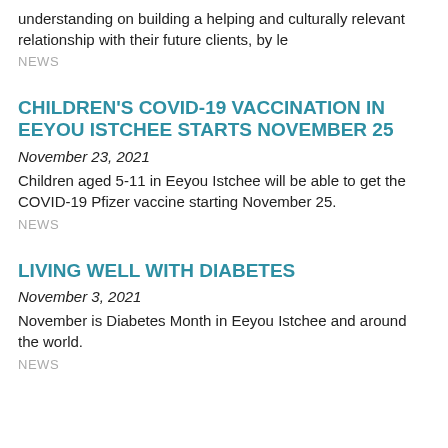understanding on building a helping and culturally relevant relationship with their future clients, by le
NEWS
CHILDREN'S COVID-19 VACCINATION IN EEYOU ISTCHEE STARTS NOVEMBER 25
November 23, 2021
Children aged 5-11 in Eeyou Istchee will be able to get the COVID-19 Pfizer vaccine starting November 25.
NEWS
LIVING WELL WITH DIABETES
November 3, 2021
November is Diabetes Month in Eeyou Istchee and around the world.
NEWS